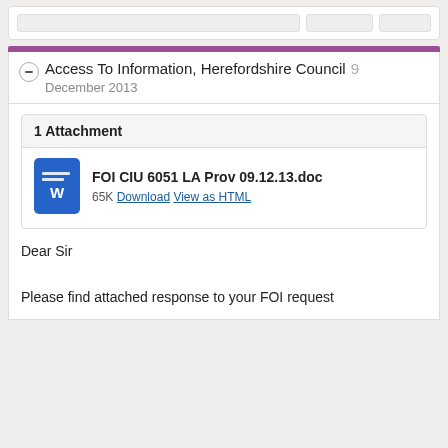[Figure (screenshot): Partial top UI card with boxes suggesting a previous email thread item]
Access To Information, Herefordshire Council 9
December 2013
1 Attachment
[Figure (other): Word document icon (blue with horizontal lines and W)]
FOI CIU 6051 LA Prov 09.12.13.doc
65K Download View as HTML
Dear Sir
Please find attached response to your FOI request